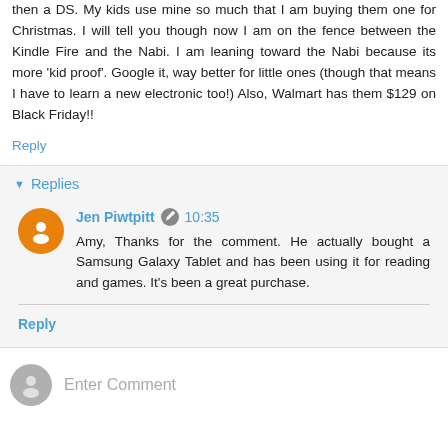then a DS. My kids use mine so much that I am buying them one for Christmas. I will tell you though now I am on the fence between the Kindle Fire and the Nabi. I am leaning toward the Nabi because its more 'kid proof'. Google it, way better for little ones (though that means I have to learn a new electronic too!) Also, Walmart has them $129 on Black Friday!!
Reply
Replies
Jen Piwtpitt  10:35
Amy, Thanks for the comment. He actually bought a Samsung Galaxy Tablet and has been using it for reading and games. It's been a great purchase.
Reply
Enter Comment